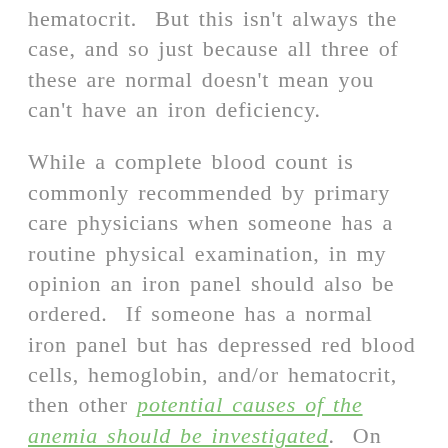hematocrit.  But this isn't always the case, and so just because all three of these are normal doesn't mean you can't have an iron deficiency.
While a complete blood count is commonly recommended by primary care physicians when someone has a routine physical examination, in my opinion an iron panel should also be ordered.  If someone has a normal iron panel but has depressed red blood cells, hemoglobin, and/or hematocrit, then other potential causes of the anemia should be investigated.  On the other hand,